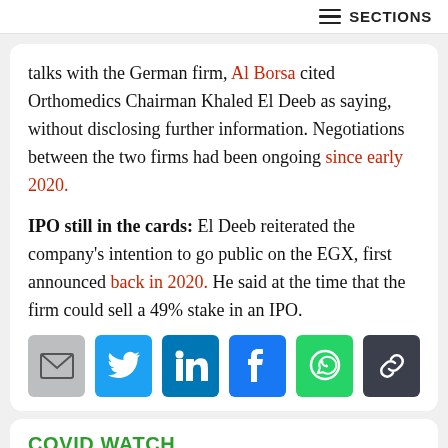≡ SECTIONS
talks with the German firm, Al Borsa cited Orthomedics Chairman Khaled El Deeb as saying, without disclosing further information. Negotiations between the two firms had been ongoing since early 2020.
IPO still in the cards: El Deeb reiterated the company's intention to go public on the EGX, first announced back in 2020. He said at the time that the firm could sell a 49% stake in an IPO.
[Figure (infographic): Social share icons: email (grey), Twitter (blue), LinkedIn (blue), Facebook (blue), WhatsApp (green), link/chain (dark grey)]
COVID WATCH